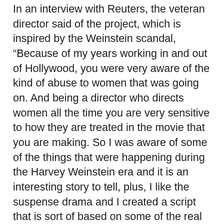In an interview with Reuters, the veteran director said of the project, which is inspired by the Weinstein scandal, “Because of my years working in and out of Hollywood, you were very aware of the kind of abuse to women that was going on. And being a director who directs women all the time you are very sensitive to how they are treated in the movie that you are making. So I was aware of some of the things that were happening during the Harvey Weinstein era and it is an interesting story to tell, plus, I like the suspense drama and I created a script that is sort of based on some of the real cases reported in the New York Times. But it is basically a suspense film using that as the historical backdrop.”